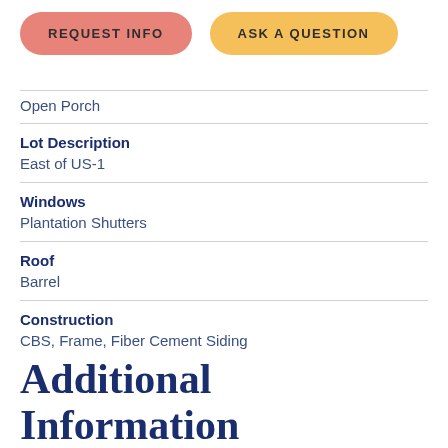REQUEST INFO
ASK A QUESTION
Open Porch
Lot Description
East of US-1
Windows
Plantation Shutters
Roof
Barrel
Construction
CBS, Frame, Fiber Cement Siding
Additional Information